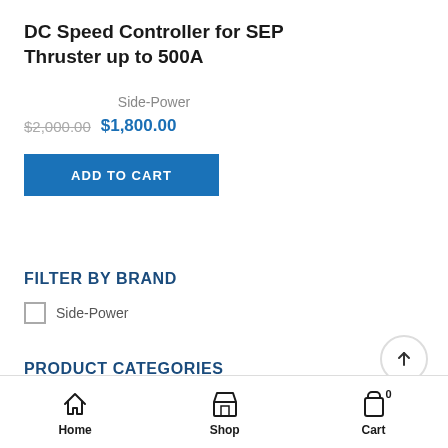DC Speed Controller for SEP Thruster up to 500A
Side-Power
$2,000.00  $1,800.00
ADD TO CART
FILTER BY BRAND
Side-Power
PRODUCT CATEGORIES
Home  Shop  Cart